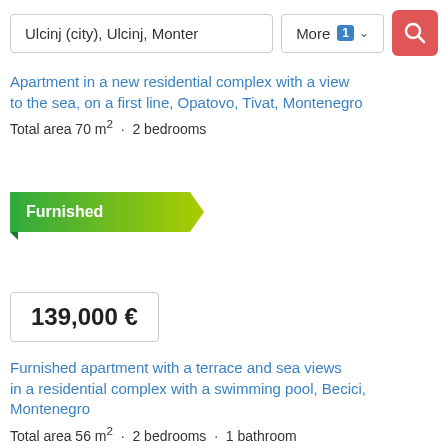Ulcinj (city), Ulcinj, Monter  More 1 ∨  🔍
Apartment in a new residential complex with a view to the sea, on a first line, Opatovo, Tivat, Montenegro
Total area 70 m² · 2 bedrooms
[Figure (other): Green ribbon badge with text 'Furnished']
139,000 €
Furnished apartment with a terrace and sea views in a residential complex with a swimming pool, Becici, Montenegro
Total area 56 m² · 2 bedrooms · 1 bathroom